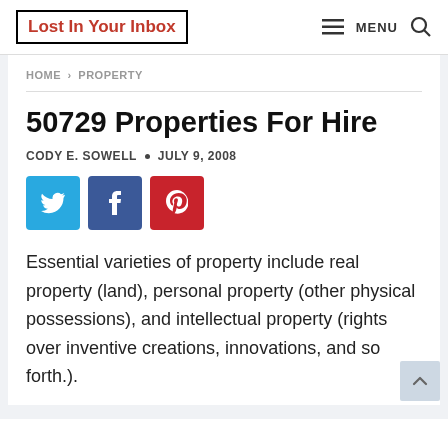Lost In Your Inbox | MENU
HOME > PROPERTY
50729 Properties For Hire
CODY E. SOWELL · JULY 9, 2008
[Figure (infographic): Social share buttons: Twitter (blue), Facebook (dark blue), Pinterest (red)]
Essential varieties of property include real property (land), personal property (other physical possessions), and intellectual property (rights over inventive creations, innovations, and so forth.).